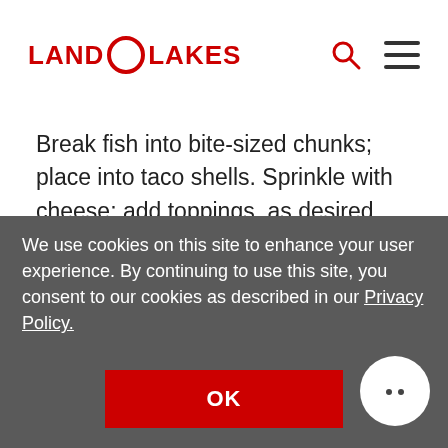LAND O LAKES
Break fish into bite-sized chunks; place into taco shells. Sprinkle with cheese; add toppings, as desired. Drizzle with sour cream mixture.
READ THE STORY BEHIND THE RECIPE
We use cookies on this site to enhance your user experience. By continuing to use this site, you consent to our cookies as described in our Privacy Policy.
OK